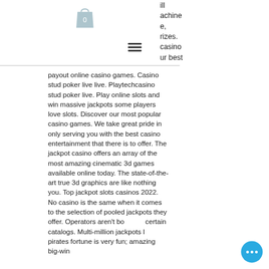[Figure (illustration): Shopping bag icon with number 0 inside, gray colored]
[Figure (illustration): Hamburger menu icon with three horizontal lines]
ill machine e, rizes. casino ur best
payout online casino games. Casino stud poker live live. Playtechcasino stud poker live. Play online slots and win massive jackpots some players love slots. Discover our most popular casino games. We take great pride in only serving you with the best casino entertainment that there is to offer. The jackpot casino offers an array of the most amazing cinematic 3d games available online today. The state-of-the-art true 3d graphics are like nothing you. Top jackpot slots casinos 2022. No casino is the same when it comes to the selection of pooled jackpots they offer. Operators aren't bound to certain catalogs. Multi-million jackpots like pirates fortune is very fun; amazing big-win
[Figure (illustration): Blue circular chat/more options button with three white dots]